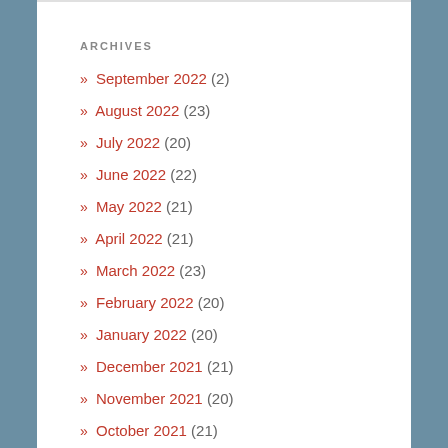ARCHIVES
» September 2022 (2)
» August 2022 (23)
» July 2022 (20)
» June 2022 (22)
» May 2022 (21)
» April 2022 (21)
» March 2022 (23)
» February 2022 (20)
» January 2022 (20)
» December 2021 (21)
» November 2021 (20)
» October 2021 (21)
» September 2021 (21)